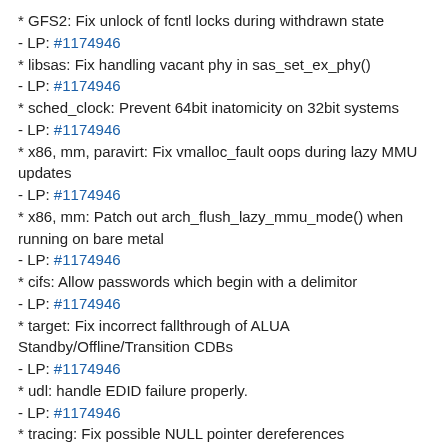* GFS2: Fix unlock of fcntl locks during withdrawn state
  - LP: #1174946
* libsas: Fix handling vacant phy in sas_set_ex_phy()
  - LP: #1174946
* sched_clock: Prevent 64bit inatomicity on 32bit systems
  - LP: #1174946
* x86, mm, paravirt: Fix vmalloc_fault oops during lazy MMU updates
  - LP: #1174946
* x86, mm: Patch out arch_flush_lazy_mmu_mode() when running on bare metal
  - LP: #1174946
* cifs: Allow passwords which begin with a delimitor
  - LP: #1174946
* target: Fix incorrect fallthrough of ALUA Standby/Offline/Transition CDBs
  - LP: #1174946
* udl: handle EDID failure properly.
  - LP: #1174946
* tracing: Fix possible NULL pointer dereferences
  - LP: #1174946